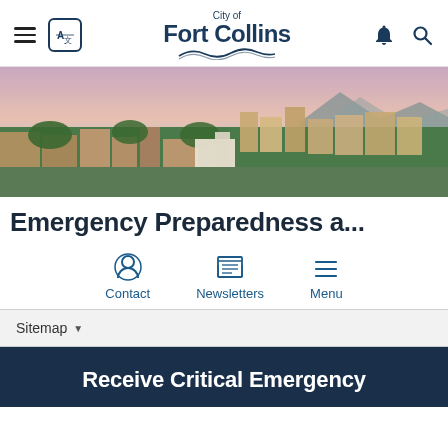City of Fort Collins
[Figure (photo): Aerial panoramic view of Fort Collins, Colorado downtown area with mountains in background at dusk]
Emergency Preparedness a...
Contact | Newsletters | Menu
Sitemap
Receive Critical Emergency